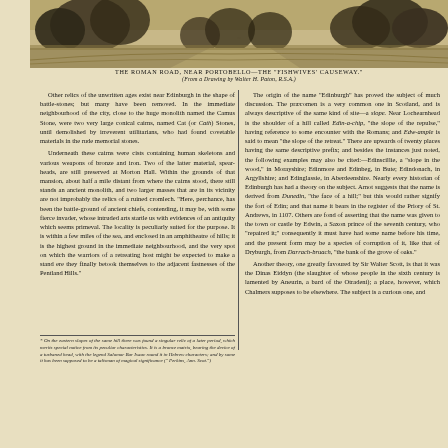[Figure (illustration): Engraved illustration of The Roman Road near Portobello - the Fishwives' Causeway, a landscape scene with trees and a path]
THE ROMAN ROAD, NEAR PORTOBELLO—THE "FISHWIVES' CAUSEWAY."
(From a Drawing by Walter H. Paton, R.S.A.)
Other relics of the unwritten ages exist near Edinburgh in the shape of battle-stones; but many have been removed. In the immediate neighbourhood of the city, close to the huge monolith named the Camus Stone, were two very large conical cairns, named Cat (or Cath) Stones, until demolished by irreverent utilitarians, who had found covetable materials in the rude memorial stones.

Underneath these cairns were cists containing human skeletons and various weapons of bronze and iron. Two of the latter material, spear-heads, are still preserved at Morton Hall. Within the grounds of that mansion, about half a mile distant from where the cairns stood, there still stands an ancient monolith, and two larger masses that are in its vicinity are not improbably the relics of a ruined cromlech. "Here, perchance, has been the battle-ground of ancient chiefs, contending, it may be, with some fierce invader, whose intruded arts startle us with evidences of an antiquity which seems primeval. The locality is peculiarly suited for the purpose. It is within a few miles of the sea, and enclosed in an amphitheatre of hills; it is the highest ground in the immediate neighbourhood, and the very spot on which the warriors of a retreating host might be expected to make a stand ere they finally betook themselves to the adjacent fastnesses of the Pentland Hills."
* On the eastern slopes of the same hill there was found a singular relic of a later period, which merits special notice from its peculiar characteristics. It is a bronze matrix, bearing the device of a turbaned head, with the legend Salomor Bar Isaac round it in Hebrew characters; and by some it has been supposed to be a talisman of magical significance (" Perkins, Ann. Scot.")
The origin of the name "Edinburgh" has proved the subject of much discussion. The præcomen is a very common one in Scotland, and is always descriptive of the same kind of site—a slope. Near Lochearnhead is the shoulder of a hill called Edin-a-chip, "the slope of the repulse," having reference to some encounter with the Romans; and Edw-ample is said to mean "the slope of the retreat." There are upwards of twenty places having the same descriptive prefix; and besides the instances just noted, the following examples may also be cited:—Edinscillie, a "slope in the wood," in Morayshire; Edinmore and Edinbeg, in Bute; Edindonach, in Argyllshire; and Edinglassie, in Aberdeenshire. Nearly every historian of Edinburgh has had a theory on the subject. Arnot suggests that the name is derived from Dunedin, "the face of a hill;" but this would rather signify the fort of Edin; and that name it bears in the register of the Priory of St. Andrews, in 1107. Others are fond of asserting that the name was given to the town or castle by Edwin, a Saxon prince of the seventh century, who "repaired it;" consequently it must have had some name before his time, and the present form may be a species of corruption of it, like that of Dryburgh, from Darrach-bruach, "the bank of the grove of oaks."

Another theory, one greatly favoured by Sir Walter Scott, is that it was the Dinas Eiddyn (the slaughter of whose people in the sixth century is lamented by Aneurin, a bard of the Otradeni); a place, however, which Chalmers supposes to be elsewhere. The subject is a curious one, and